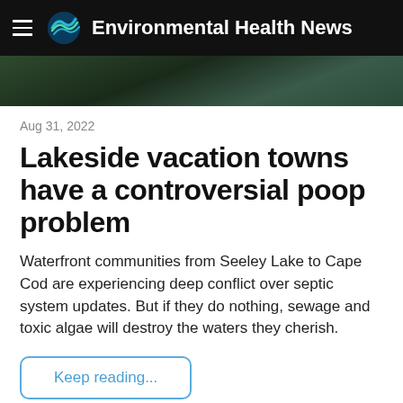Environmental Health News
[Figure (photo): Dark green outdoor/nature scene photo strip used as hero image]
Aug 31, 2022
Lakeside vacation towns have a controversial poop problem
Waterfront communities from Seeley Lake to Cape Cod are experiencing deep conflict over septic system updates. But if they do nothing, sewage and toxic algae will destroy the waters they cherish.
Keep reading...
newrepublic.com